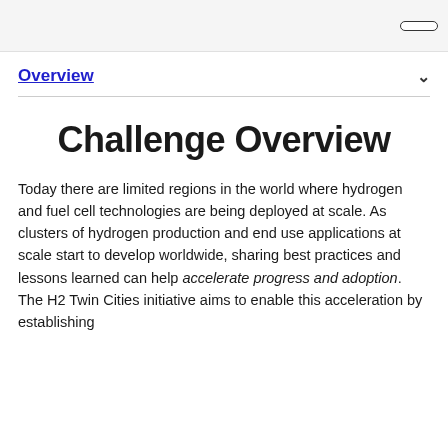Overview
Challenge Overview
Today there are limited regions in the world where hydrogen and fuel cell technologies are being deployed at scale. As clusters of hydrogen production and end use applications at scale start to develop worldwide, sharing best practices and lessons learned can help accelerate progress and adoption. The H2 Twin Cities initiative aims to enable this acceleration by establishing